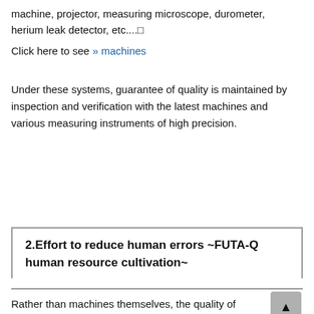machine, projector, measuring microscope, durometer, herium leak detector, etc....□
Click here to see » machines
Under these systems, guarantee of quality is maintained by inspection and verification with the latest machines and various measuring instruments of high precision.
2.Effort to reduce human errors ~FUTA-Q human resource cultivation~
Rather than machines themselves, the quality of